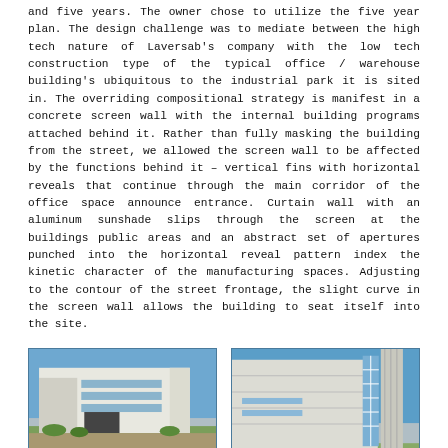and five years. The owner chose to utilize the five year plan. The design challenge was to mediate between the high tech nature of Laversab's company with the low tech construction type of the typical office / warehouse building's ubiquitous to the industrial park it is sited in. The overriding compositional strategy is manifest in a concrete screen wall with the internal building programs attached behind it. Rather than fully masking the building from the street, we allowed the screen wall to be affected by the functions behind it – vertical fins with horizontal reveals that continue through the main corridor of the office space announce entrance. Curtain wall with an aluminum sunshade slips through the screen at the buildings public areas and an abstract set of apertures punched into the horizontal reveal pattern index the kinetic character of the manufacturing spaces. Adjusting to the contour of the street frontage, the slight curve in the screen wall allows the building to seat itself into the site.
[Figure (photo): Exterior view of Laversab office/warehouse building from street level, showing white concrete screen wall, landscaping, and parking area under blue sky.]
[Figure (photo): Close-up exterior view of Laversab building showing vertical fins, horizontal reveals, curtain wall with aluminum sunshade, and glass grid element against blue sky.]
[Figure (photo): Partial exterior view of Laversab building, lower left section.]
[Figure (photo): Partial exterior view of Laversab building, lower right section.]